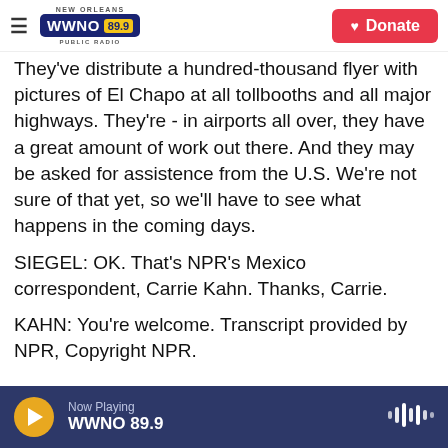NEW ORLEANS WWNO 89.9 PUBLIC RADIO | Donate
They've distribute a hundred-thousand flyer with pictures of El Chapo at all tollbooths and all major highways. They're - in airports all over, they have a great amount of work out there. And they may be asked for assistence from the U.S. We're not sure of that yet, so we'll have to see what happens in the coming days.
SIEGEL: OK. That's NPR's Mexico correspondent, Carrie Kahn. Thanks, Carrie.
KAHN: You're welcome. Transcript provided by NPR, Copyright NPR.
Now Playing WWNO 89.9